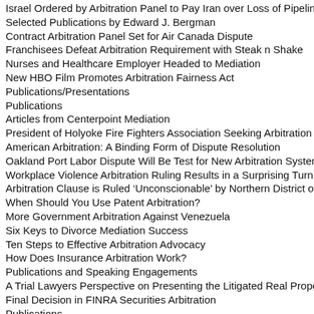Israel Ordered by Arbitration Panel to Pay Iran over Loss of Pipeline Sta...
Selected Publications by Edward J. Bergman
Contract Arbitration Panel Set for Air Canada Dispute
Franchisees Defeat Arbitration Requirement with Steak n Shake
Nurses and Healthcare Employer Headed to Mediation
New HBO Film Promotes Arbitration Fairness Act
Publications/Presentations
Publications
Articles from Centerpoint Mediation
President of Holyoke Fire Fighters Association Seeking Arbitration for A...
American Arbitration: A Binding Form of Dispute Resolution
Oakland Port Labor Dispute Will Be Test for New Arbitration System
Workplace Violence Arbitration Ruling Results in a Surprising Turn of Ev...
Arbitration Clause is Ruled ‘Unconscionable’ by Northern District of Cali...
When Should You Use Patent Arbitration?
More Government Arbitration Against Venezuela
Six Keys to Divorce Mediation Success
Ten Steps to Effective Arbitration Advocacy
How Does Insurance Arbitration Work?
Publications and Speaking Engagements
A Trial Lawyers Perspective on Presenting the Litigated Real Property C...
Final Decision in FINRA Securities Arbitration
Publications
Former Teacher Plans To Fight Termination Through Arbitration
Professional Publications
Publications
Delaware Supreme Court Adopts New Arbitration Rules
WILL I LOSE MY 401(K) IF I DIVORCE MY SPOUSE?
Newark Police Department Consults to Agent Priva...her Arbitratio...